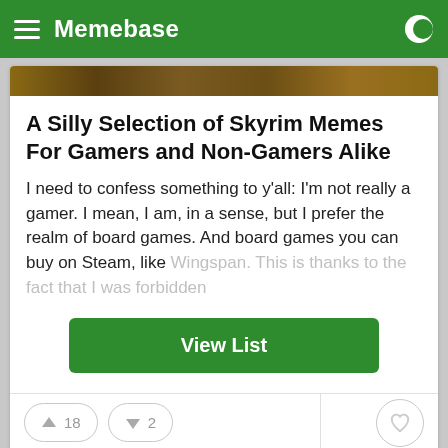Memebase
A Silly Selection of Skyrim Memes For Gamers and Non-Gamers Alike
I need to confess something to y'all: I'm not really a gamer. I mean, I am, in a sense, but I prefer the realm of board games. And board games you can buy on Steam, like Wingspan. This is thanks to the fact that I was forbidden
View List
18  2
[Figure (screenshot): Advertisement banner: '90s Gamers vs Gamers now meme, with text 'When your mom checks if you have games installed on your']
[Figure (screenshot): Victoria's Secret advertisement: Shop The Collection, Shop Now]